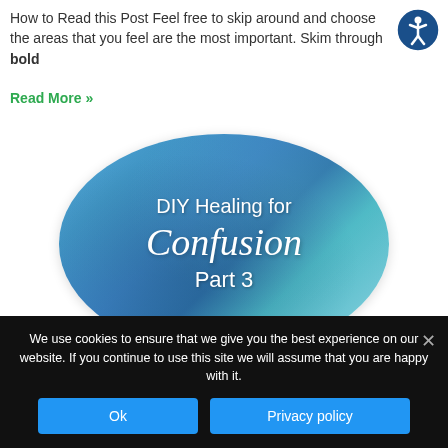How to Read this Post Feel free to skip around and choose the areas that you feel are the most important. Skim through bold
Read More »
[Figure (illustration): Oval/ellipse shaped decorative image with blue watercolor texture background containing white text: 'DIY Healing for Confusion Part 3']
We use cookies to ensure that we give you the best experience on our website. If you continue to use this site we will assume that you are happy with it.
Ok | Privacy policy